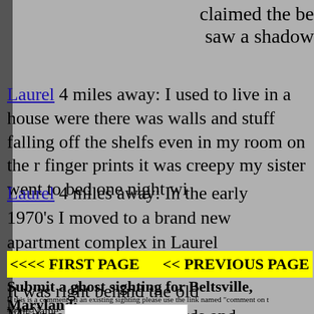claimed the be saw a shadow
Laurel 4 miles away: I used to live in a house were there was walls and stuff falling off the shelfs even in my room on the r finger prints it was creepy my sister went to bed one night wi
Laurel 4 miles away: In the early 1970's I moved to a brand new apartment complex in Laurel MD called "crescents of Laurel". It was right behind the old Montgomery wards. Wards and the apartment complex are no longer th...
<<<< FIRST PAGE      << PREVIOUS PAGE
Submit a ghost sighting for Beltsville, Maryland:
If this is a comment on an existing sighting please use the link named "comment on t sighting.
Your Name: